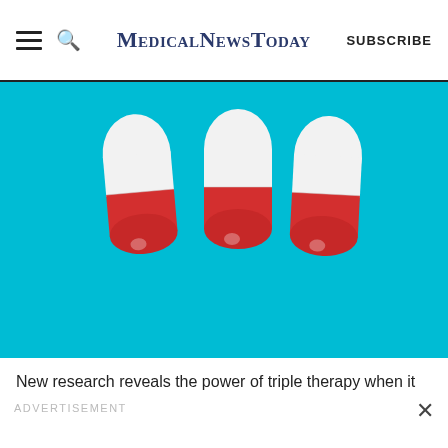MedicalNewsToday  SUBSCRIBE
[Figure (photo): Three red-and-white capsule pills arranged in a row on a bright teal/turquoise textured background.]
New research reveals the power of triple therapy when it comes to tackling aggressive bowel cancer.
ADVERTISEMENT